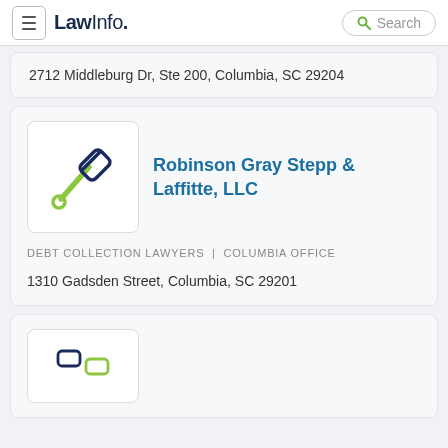LawInfo. Search
2712 Middleburg Dr, Ste 200, Columbia, SC 29204
Robinson Gray Stepp & Laffitte, LLC
DEBT COLLECTION LAWYERS | COLUMBIA OFFICE
1310 Gadsden Street, Columbia, SC 29201
[Figure (illustration): Partial view of another law firm listing with a legal icon (scales/gavel icon)]